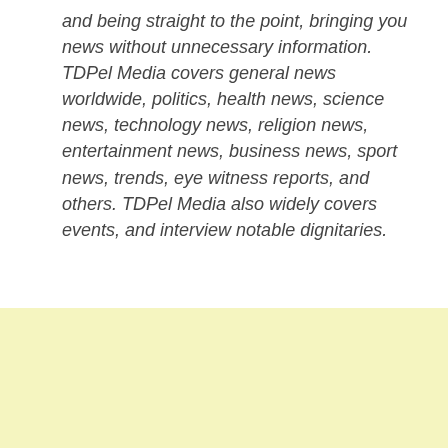and being straight to the point, bringing you news without unnecessary information. TDPel Media covers general news worldwide, politics, health news, science news, technology news, religion news, entertainment news, business news, sport news, trends, eye witness reports, and others. TDPel Media also widely covers events, and interview notable dignitaries.
Contact us for interview, event coverage, guest posts and eye witness reports.
Click here for Cookie Consent and Privacy Policy